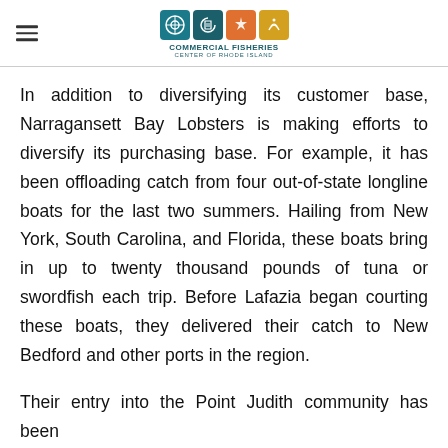Commercial Fisheries Center of Rhode Island
In addition to diversifying its customer base, Narragansett Bay Lobsters is making efforts to diversify its purchasing base. For example, it has been offloading catch from four out-of-state longline boats for the last two summers. Hailing from New York, South Carolina, and Florida, these boats bring in up to twenty thousand pounds of tuna or swordfish each trip. Before Lafazia began courting these boats, they delivered their catch to New Bedford and other ports in the region.
Their entry into the Point Judith community has been